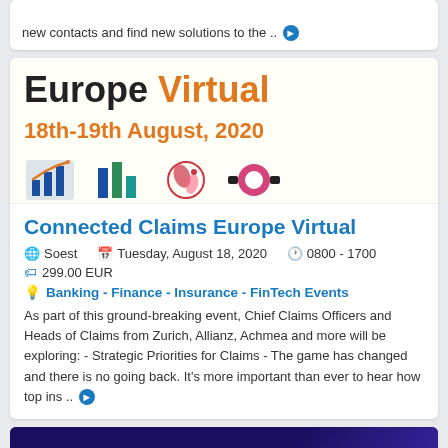new contacts and find new solutions to the ..
[Figure (illustration): Event banner showing 'Europe Virtual' text with '18th-19th August, 2020' date and sponsor logos]
Connected Claims Europe Virtual
Soest  Tuesday, August 18, 2020  0800 - 1700
299.00 EUR
Banking - Finance - Insurance - FinTech Events
As part of this ground-breaking event, Chief Claims Officers and Heads of Claims from Zurich, Allianz, Achmea and more will be exploring: - Strategic Priorities for Claims - The game has changed and there is no going back. It's more important than ever to hear how top ins ..
[Figure (illustration): Bottom card showing 'management' text on dark purple/blue background with arrow icon]